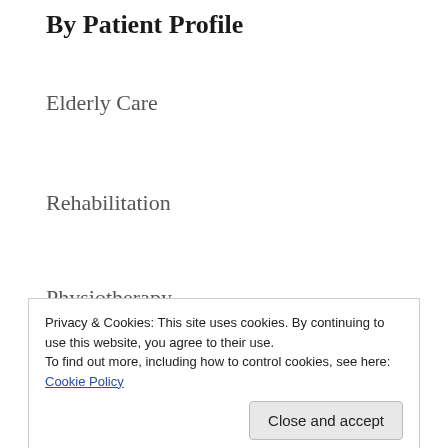By Patient Profile
Elderly Care
Rehabilitation
Physiotherapy
Wound Care
Privacy & Cookies: This site uses cookies. By continuing to use this website, you agree to their use.
To find out more, including how to control cookies, see here: Cookie Policy
By Service Stream